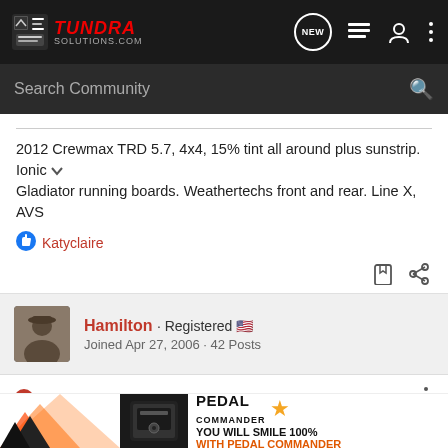TUNDRA SOLUTIONS.COM — Search Community
2012 Crewmax TRD 5.7, 4x4, 15% tint all around plus sunstrip. Ionic Gladiator running boards. Weathertechs front and rear. Line X, AVS
Katyclaire
Hamilton · Registered  Joined Apr 27, 2006 · 42 Posts
Discussion Starter · #3 · Aug 24, 2020
Hey, thanks for the response Cheenskate!
Best I ca...ust
[Figure (screenshot): Pedal Commander advertisement banner: orange graphic with arrows, device image, logo with star, tagline YOU WILL SMILE 100% WITH PEDAL COMMANDER]